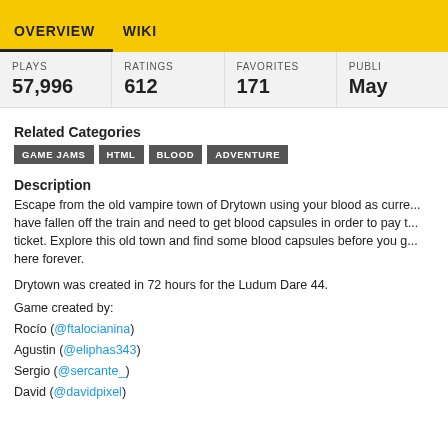OVERVIEW   WIKI
| PLAYS | RATINGS | FAVORITES | PUBLI... |
| --- | --- | --- | --- |
| 57,996 | 612 | 171 | May... |
Related Categories
GAME JAMS
HTML
BLOOD
ADVENTURE
Description
Escape from the old vampire town of Drytown using your blood as currency. You have fallen off the train and need to get blood capsules in order to pay the ticket. Explore this old town and find some blood capsules before you get stuck here forever.
Drytown was created in 72 hours for the Ludum Dare 44.
Game created by:
Rocío (@ftalocianina)
Agustin (@eliphas343)
Sergio (@sercante_)
David (@davidpixel)